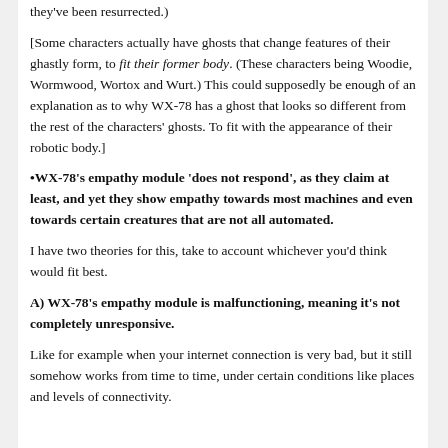they've been resurrected.)
[Some characters actually have ghosts that change features of their ghastly form, to fit their former body. (These characters being Woodie, Wormwood, Wortox and Wurt.) This could supposedly be enough of an explanation as to why WX-78 has a ghost that looks so different from the rest of the characters' ghosts. To fit with the appearance of their robotic body.]
•WX-78's empathy module 'does not respond', as they claim at least, and yet they show empathy towards most machines and even towards certain creatures that are not all automated.
I have two theories for this, take to account whichever you'd think would fit best.
A) WX-78's empathy module is malfunctioning, meaning it's not completely unresponsive.
Like for example when your internet connection is very bad, but it still somehow works from time to time, under certain conditions like places and levels of connectivity.